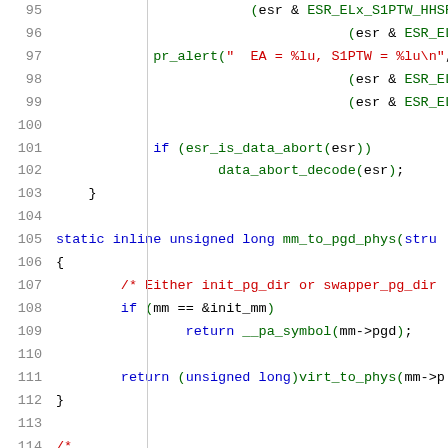[Figure (screenshot): Source code listing showing C/kernel code lines 95-116, with line numbers on the left and syntax-highlighted code on the right. Green for function/macro names, red for comments and strings, blue for keywords.]